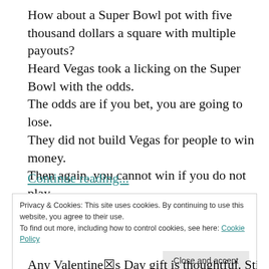How about a Super Bowl pot with five thousand dollars a square with multiple payouts? Heard Vegas took a licking on the Super Bowl with the odds. The odds are if you bet, you are going to lose. They did not build Vegas for people to win money. Then again, you cannot win if you do not play. Be nice to know my ship was coming in tomorrow night; I would be plum tickled.
Continue reading...
Privacy & Cookies: This site uses cookies. By continuing to use this website, you agree to their use.
To find out more, including how to control cookies, see here: Cookie Policy
Any Valentine's Day gift is thoughtful. Still, most